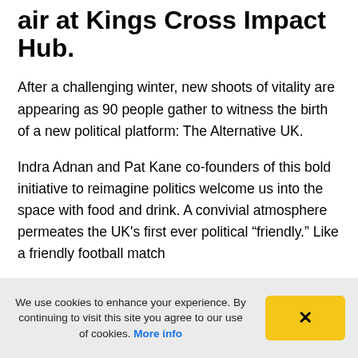air at Kings Cross Impact Hub.
After a challenging winter, new shoots of vitality are appearing as 90 people gather to witness the birth of a new political platform: The Alternative UK.
Indra Adnan and Pat Kane co-founders of this bold initiative to reimagine politics welcome us into the space with food and drink. A convivial atmosphere permeates the UK's first ever political “friendly.” Like a friendly football match
We use cookies to enhance your experience. By continuing to visit this site you agree to our use of cookies. More info